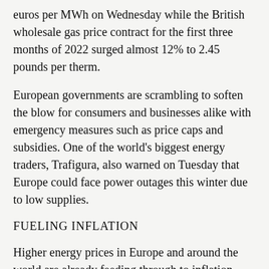euros per MWh on Wednesday while the British wholesale gas price contract for the first three months of 2022 surged almost 12% to 2.45 pounds per therm.
European governments are scrambling to soften the blow for consumers and businesses alike with emergency measures such as price caps and subsidies. One of the world's biggest energy traders, Trafigura, also warned on Tuesday that Europe could face power outages this winter due to low supplies.
FUELING INFLATION
Higher energy prices in Europe and around the world are already feeding through to inflation rates, which may in turn push policymakers to raise interest rates sooner than expected.